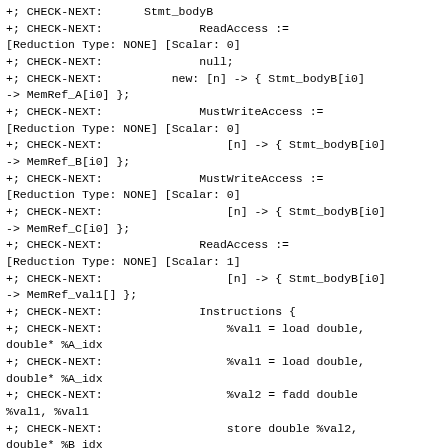+; CHECK-NEXT:      Stmt_bodyB
+; CHECK-NEXT:              ReadAccess :=
[Reduction Type: NONE] [Scalar: 0]
+; CHECK-NEXT:              null;
+; CHECK-NEXT:          new: [n] -> { Stmt_bodyB[i0]
-> MemRef_A[i0] };
+; CHECK-NEXT:              MustWriteAccess :=
[Reduction Type: NONE] [Scalar: 0]
+; CHECK-NEXT:                  [n] -> { Stmt_bodyB[i0]
-> MemRef_B[i0] };
+; CHECK-NEXT:              MustWriteAccess :=
[Reduction Type: NONE] [Scalar: 0]
+; CHECK-NEXT:                  [n] -> { Stmt_bodyB[i0]
-> MemRef_C[i0] };
+; CHECK-NEXT:              ReadAccess :=
[Reduction Type: NONE] [Scalar: 1]
+; CHECK-NEXT:                  [n] -> { Stmt_bodyB[i0]
-> MemRef_val1[] };
+; CHECK-NEXT:              Instructions {
+; CHECK-NEXT:                  %val1 = load double,
double* %A_idx
+; CHECK-NEXT:                  %val1 = load double,
double* %A_idx
+; CHECK-NEXT:                  %val2 = fadd double
%val1, %val1
+; CHECK-NEXT:                  store double %val2,
double* %B_idx
+; CHECK-NEXT:                  store double %val1,
double* %C_idx
+; CHECK-NEXT:              }